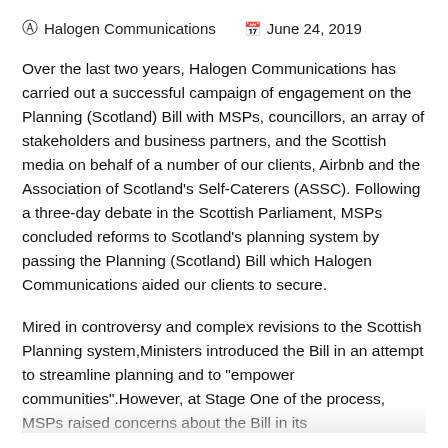Halogen Communications   June 24, 2019
Over the last two years, Halogen Communications has carried out a successful campaign of engagement on the Planning (Scotland) Bill with MSPs, councillors, an array of stakeholders and business partners, and the Scottish media on behalf of a number of our clients, Airbnb and the Association of Scotland's Self-Caterers (ASSC). Following a three-day debate in the Scottish Parliament, MSPs concluded reforms to Scotland's planning system by passing the Planning (Scotland) Bill which Halogen Communications aided our clients to secure.
Mired in controversy and complex revisions to the Scottish Planning system,Ministers introduced the Bill in an attempt to streamline planning and to "empower communities".However, at Stage One of the process, MSPs raised concerns about the Bill in its